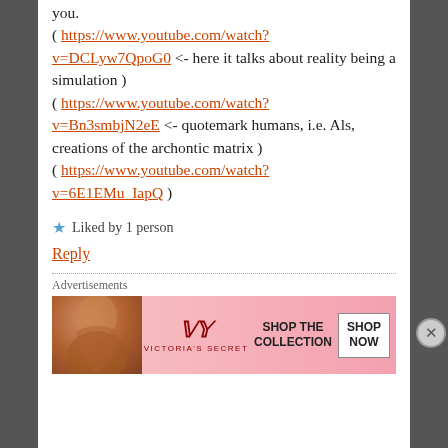you.
( https://www.youtube.com/watch?v=DCLyw7QpoG0 <- here it talks about reality being a simulation )
( https://www.youtube.com/watch?v=Bn3smbjN2eE <- quotemark humans, i.e. Als, creations of the archontic matrix )
( https://www.youtube.com/watch?v=6E1EMu_IapQ )
★ Liked by 1 person
Reply
Advertisements
[Figure (photo): Victoria's Secret advertisement banner with woman's photo on left, VS logo in center, 'SHOP THE COLLECTION' text, and 'SHOP NOW' button on right]